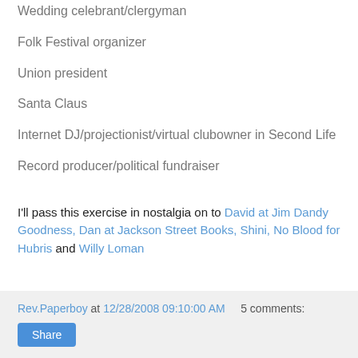Wedding celebrant/clergyman
Folk Festival organizer
Union president
Santa Claus
Internet DJ/projectionist/virtual clubowner in Second Life
Record producer/political fundraiser
I'll pass this exercise in nostalgia on to David at Jim Dandy Goodness, Dan at Jackson Street Books, Shini, No Blood for Hubris and Willy Loman
Rev.Paperboy at 12/28/2008 09:10:00 AM   5 comments:  Share